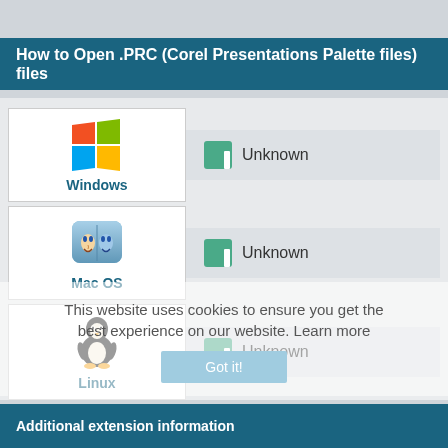How to Open .PRC (Corel Presentations Palette files) files
[Figure (infographic): Windows OS icon with Windows logo and label 'Windows', with Unknown file association]
[Figure (infographic): Mac OS icon with Finder logo and label 'Mac OS', with Unknown file association]
[Figure (infographic): Linux icon with Tux penguin and label 'Linux', with Unknown file association]
This website uses cookies to ensure you get the best experience on our website. Learn more
Additional extension information